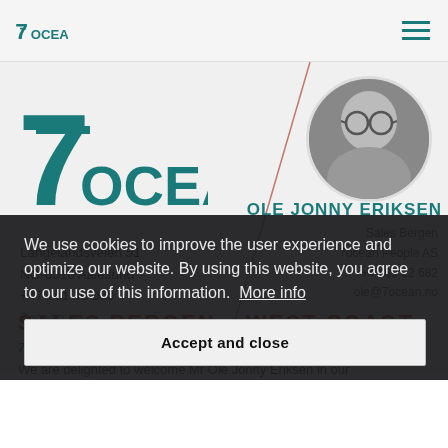7OCEAN [navigation logo and hamburger menu]
[Figure (logo): 7OCEAN company logo with teal/dark teal color, large 7 with strikethrough and text OCEAN]
Langelandsveien 51
NO-6010 Aalesund
+47 701 46 000
7ocean.no
[Figure (photo): Black and white circular headshot of Ole Jonny Eriksen, an older bald man with glasses and a beard]
OLE JONNY ERIKSEN
Sales Bergen
7ocean People AS
+47 99 22 682
ole@7ocean.no
SALES BERGEN – WEST COAST
7OCEAN PEOPLE ERIKSEN
We use cookies to improve the user experience and optimize our website. By using this website, you agree to our use of this information.  More info
Accept and close
We are delighted to welcome Mr Ole Jonny Eriksen in our